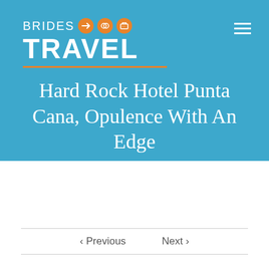BRIDES TRAVEL
Hard Rock Hotel Punta Cana, Opulence With An Edge
‹ Previous   Next ›